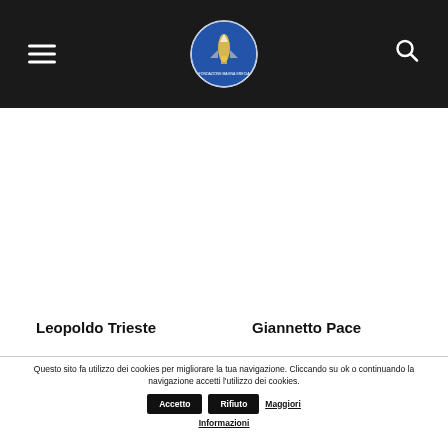Navigation bar with hamburger menu, Fondazione Magna Grecia logo, and search icon
Leopoldo Trieste
Giannetto Pace
Questo sito fa utilizzo dei cookies per migliorare la tua navigazione. Cliccando su ok o continuando la navigazione accetti l'utilizzo dei cookies. Accetto Rifiuto Maggiori Informazioni